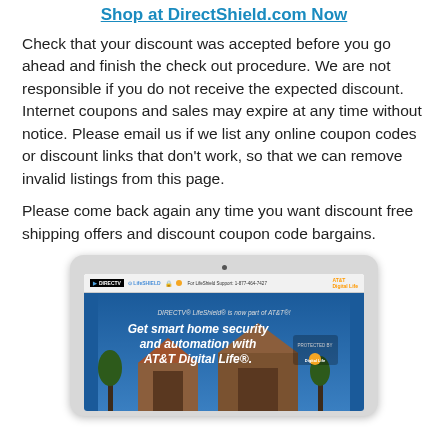Shop at DirectShield.com Now
Check that your discount was accepted before you go ahead and finish the check out procedure. We are not responsible if you do not receive the expected discount. Internet coupons and sales may expire at any time without notice. Please email us if we list any online coupon codes or discount links that don't work, so that we can remove invalid listings from this page.
Please come back again any time you want discount free shipping offers and discount coupon code bargains.
[Figure (screenshot): Screenshot of a laptop showing the DIRECTV LifeShield / AT&T Digital Life website with text 'Get smart home security and automation with AT&T Digital Life'.]